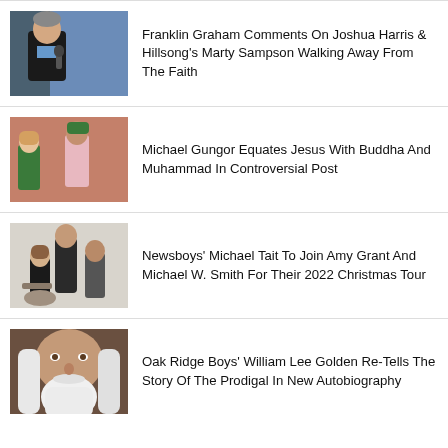[Figure (photo): Franklin Graham speaking into a microphone, wearing a dark suit, against a blue background]
Franklin Graham Comments On Joshua Harris & Hillsong's Marty Sampson Walking Away From The Faith
[Figure (photo): Michael Gungor and a woman posing together, man in pink shirt with green hat, woman in green dress, against a salmon/pink background]
Michael Gungor Equates Jesus With Buddha And Muhammad In Controversial Post
[Figure (photo): Group photo of Amy Grant, Michael W. Smith, and Michael Tait posing together against a light background]
Newsboys' Michael Tait To Join Amy Grant And Michael W. Smith For Their 2022 Christmas Tour
[Figure (photo): William Lee Golden with long white beard and long white hair, close-up portrait]
Oak Ridge Boys' William Lee Golden Re-Tells The Story Of The Prodigal In New Autobiography